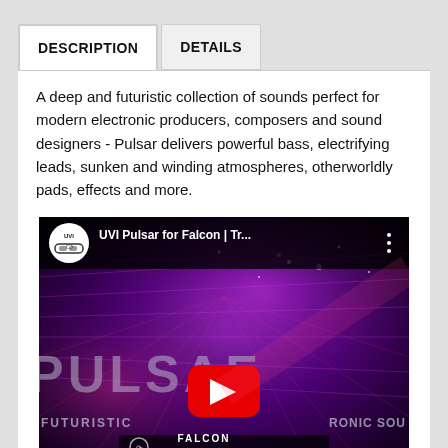DESCRIPTION
DETAILS
A deep and futuristic collection of sounds perfect for modern electronic producers, composers and sound designers - Pulsar delivers powerful bass, electrifying leads, sunken and winding atmospheres, otherworldly pads, effects and more.
[Figure (screenshot): YouTube video thumbnail for UVI Pulsar for Falcon trailer, showing futuristic purple/pink electronic music visuals with the text 'PULSAR' and 'FUTURISTIC ELECTRONIC SOUNDS' and 'FALCON EXPANSION', with a YouTube play button in the center.]